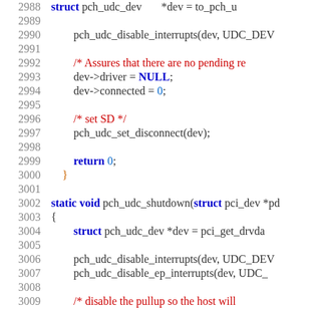[Figure (screenshot): Source code listing showing C code for Linux kernel USB device controller driver (pch_udc), lines 2988-3009, with syntax highlighting: line numbers in gray, keywords in blue, comments in red, numeric literals in blue.]